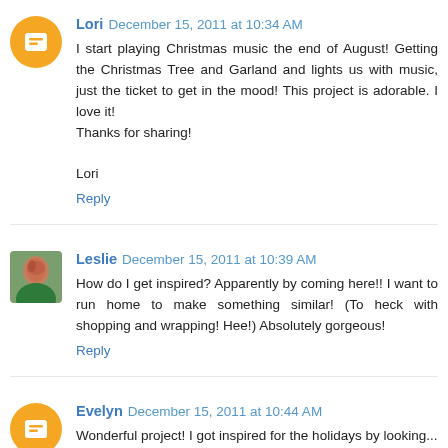Lori December 15, 2011 at 10:34 AM
I start playing Christmas music the end of August! Getting the Christmas Tree and Garland and lights us with music, just the ticket to get in the mood! This project is adorable. I love it!
Thanks for sharing!

Lori
Reply
Leslie December 15, 2011 at 10:39 AM
How do I get inspired? Apparently by coming here!! I want to run home to make something similar! (To heck with shopping and wrapping! Hee!) Absolutely gorgeous!
Reply
Evelyn December 15, 2011 at 10:44 AM
Wonderful project! I got inspired for the holidays by looking...